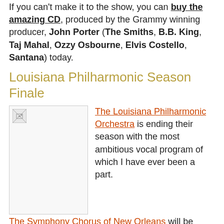If you can't make it to the show, you can buy the amazing CD, produced by the Grammy winning producer, John Porter (The Smiths, B.B. King, Taj Mahal, Ozzy Osbourne, Elvis Costello, Santana) today.
Louisiana Philharmonic Season Finale
[Figure (photo): Image placeholder with broken image icon]
The Louisiana Philharmonic Orchestra is ending their season with the most ambitious vocal program of which I have ever been a part. The Symphony Chorus of New Orleans will be